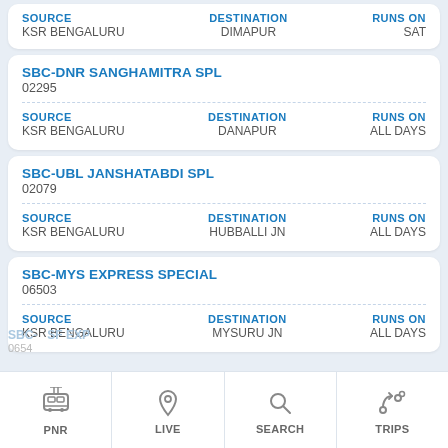SOURCE: KSR BENGALURU | DESTINATION: DIMAPUR | RUNS ON: SAT
| Title | Number |
| --- | --- |
| SBC-DNR SANGHAMITRA SPL | 02295 |
SOURCE: KSR BENGALURU | DESTINATION: DANAPUR | RUNS ON: ALL DAYS
| Title | Number |
| --- | --- |
| SBC-UBL JANSHATABDI SPL | 02079 |
SOURCE: KSR BENGALURU | DESTINATION: HUBBALLI JN | RUNS ON: ALL DAYS
| Title | Number |
| --- | --- |
| SBC-MYS EXPRESS SPECIAL | 06503 |
SOURCE: KSR BENGALURU | DESTINATION: MYSURU JN | RUNS ON: ALL DAYS
PNR | LIVE | SEARCH | TRIPS